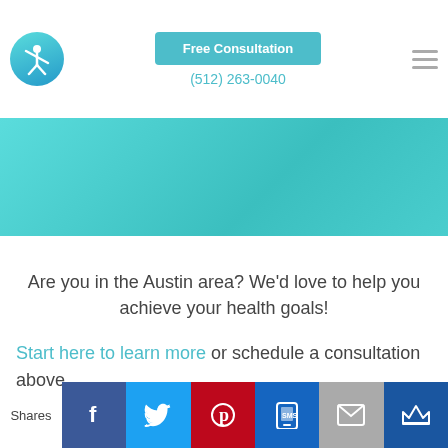[Figure (logo): Circular teal gradient logo with white figure stretching, resembling a health/fitness brand]
Free Consultation
(512) 263-0040
[Figure (other): Teal gradient banner background strip]
Are you in the Austin area? We’d love to help you achieve your health goals!
Start here to learn more or schedule a consultation above.
Shares
[Figure (infographic): Social share buttons row: Facebook (blue), Twitter (blue), Pinterest (red), SMS (dark blue), Email (gray), Crown/Monarch (dark blue)]